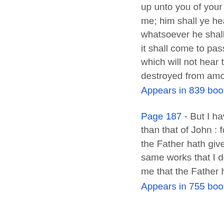up unto you of your brethren, like unto me; him shall ye hear in all things whatsoever he shall say unto you." 'And it shall come to pass, that every soul, which will not hear that prophet, shall be destroyed from among the people.
Appears in 839 books from 1694-2008
Page 187 - But I have greater witness than that of John : for the works which the Father hath given me to finish, the same works that I do, bear witness of me that the Father hath sent me.
Appears in 755 books from 1698-2008